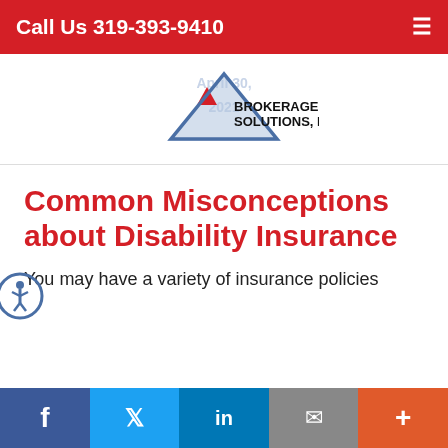Call Us 319-393-9410
[Figure (logo): Brokerage Solutions, Inc. logo with blue triangle and red triangle icon above bold black text]
April 30, 2021
Common Misconceptions about Disability Insurance
You may have a variety of insurance policies
[Figure (other): Accessibility icon (wheelchair symbol in circle)]